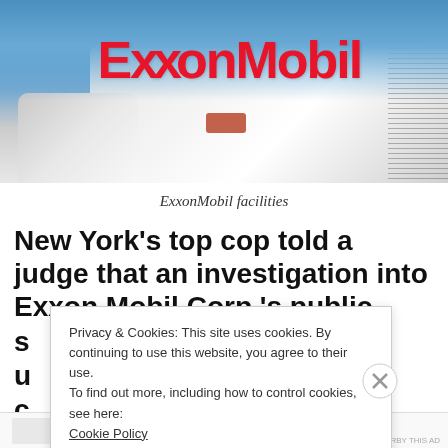[Figure (photo): ExxonMobil large white cylindrical storage tank with red ExxonMobil logo, blue sky background, small tank on left, worker on platform, ladder/staircase on right side]
ExxonMobil facilities
New York’s top cop told a judge that an investigation into Exxon Mobil Corp.’s public s[tatements about climate change...] u[nderlies...] c[...]
Privacy & Cookies: This site uses cookies. By continuing to use this website, you agree to their use.
To find out more, including how to control cookies, see here:
Cookie Policy

Close and accept